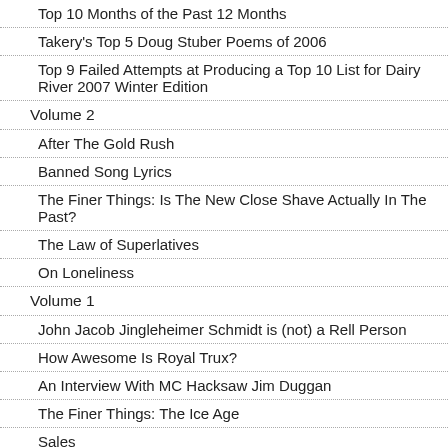Top 10 Months of the Past 12 Months
Takery's Top 5 Doug Stuber Poems of 2006
Top 9 Failed Attempts at Producing a Top 10 List for Dairy River 2007 Winter Edition
Volume 2
After The Gold Rush
Banned Song Lyrics
The Finer Things: Is The New Close Shave Actually In The Past?
The Law of Superlatives
On Loneliness
Volume 1
John Jacob Jingleheimer Schmidt is (not) a Rell Person
How Awesome Is Royal Trux?
An Interview With MC Hacksaw Jim Duggan
The Finer Things: The Ice Age
Sales
Handbook for New Pioneers
Streetlights